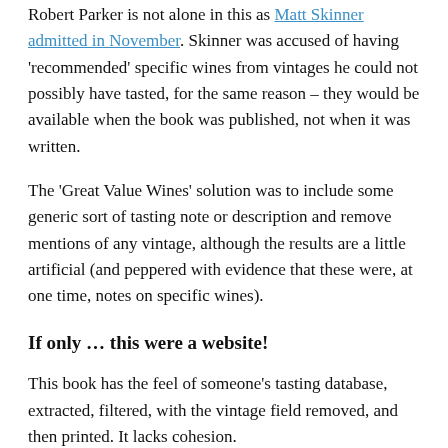Robert Parker is not alone in this as Matt Skinner admitted in November. Skinner was accused of having 'recommended' specific wines from vintages he could not possibly have tasted, for the same reason – they would be available when the book was published, not when it was written.
The 'Great Value Wines' solution was to include some generic sort of tasting note or description and remove mentions of any vintage, although the results are a little artificial (and peppered with evidence that these were, at one time, notes on specific wines).
If only … this were a website!
This book has the feel of someone's tasting database, extracted, filtered, with the vintage field removed, and then printed. It lacks cohesion.
Unfortunately it was probably more useful and easier to